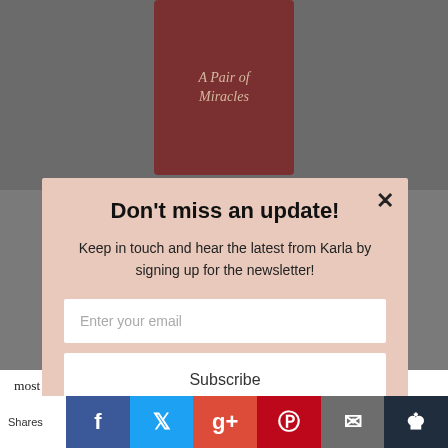[Figure (photo): Background of a dark reddish-brown book cover with italic text reading 'A Pair of Miracles' on a grey background]
Don't miss an update!
Keep in touch and hear the latest from Karla by signing up for the newsletter!
Enter your email
Subscribe
most negative behavior stems from students not being effectively, and meaningfully engaged. The activity must have relevance. It must have a clear beginning and a clear end.
Shares
powered by MailMunch